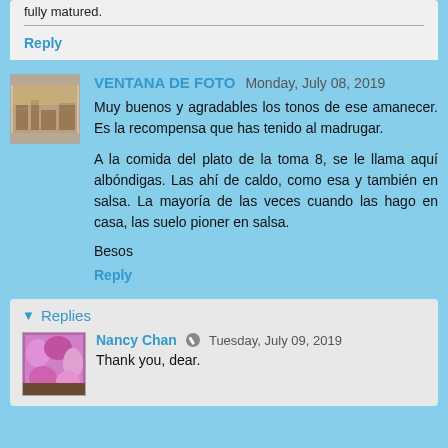fully matured.
Reply
VENTANA DE FOTO  Monday, July 08, 2019
Muy buenos y agradables los tonos de ese amanecer. Es la recompensa que has tenido al madrugar.
A la comida del plato de la toma 8, se le llama aquí albóndigas. Las ahí de caldo, como esa y también en salsa. La mayoría de las veces cuando las hago en casa, las suelo pioner en salsa.
Besos
Reply
Replies
Nancy Chan  Tuesday, July 09, 2019
Thank you, dear.